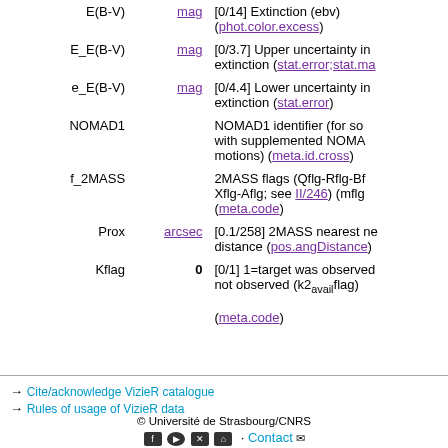| Name | Unit | Description |
| --- | --- | --- |
| E(B-V) | mag | [0/14] Extinction (ebv) (phot.color.excess) |
| E_E(B-V) | mag | [0/3.7] Upper uncertainty in extinction (stat.error;stat.max) |
| e_E(B-V) | mag | [0/4.4] Lower uncertainty in extinction (stat.error) |
| NOMAD1 |  | NOMAD1 identifier (for sources with supplemented NOMAD proper motions) (meta.id.cross) |
| f_2MASS |  | 2MASS flags (Qflg-Rflg-Bflg-Xflg-Aflg; see II/246) (mflg) (meta.code) |
| Prox | arcsec | [0.1/258] 2MASS nearest neighbour distance (pos.angDistance) |
| Kflag | 0 | [0/1] 1=target was observed; 0=not observed (k2_avail flag) (meta.code) |
→ Cite/acknowledge VizieR catalogue
→ Rules of usage of VizieR data
© Université de Strasbourg/CNRS